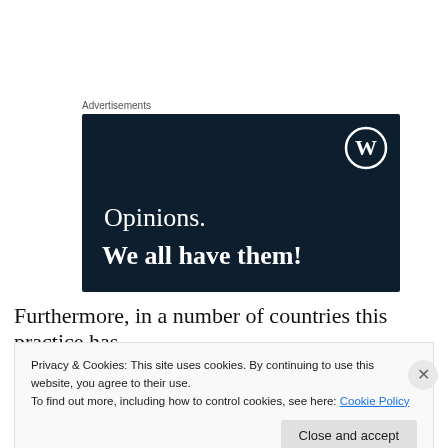Advertisements
[Figure (illustration): WordPress advertisement banner with dark navy background, WordPress logo (W in circle) in top right, text reading 'Opinions.' and 'We all have them!' in white serif font]
Furthermore, in a number of countries this practice has
Privacy & Cookies: This site uses cookies. By continuing to use this website, you agree to their use.
To find out more, including how to control cookies, see here: Cookie Policy
Close and accept